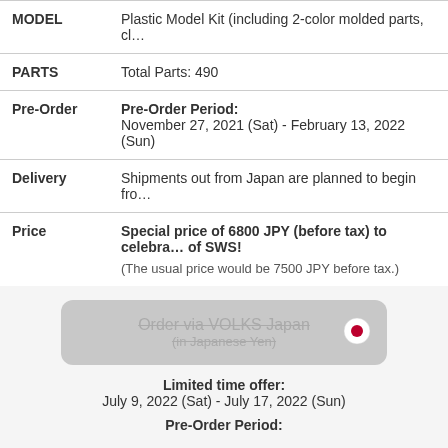| MODEL | Plastic Model Kit (including 2-color molded parts, cl… |
| PARTS | Total Parts: 490 |
| Pre-Order | Pre-Order Period:
November 27, 2021 (Sat) - February 13, 2022 (Sun) |
| Delivery | Shipments out from Japan are planned to begin fro… |
| Price | Special price of 6800 JPY (before tax) to celebra… of SWS!
(The usual price would be 7500 JPY before tax.) |
[Figure (illustration): A greyed-out button with strikethrough text reading 'Order via VOLKS Japan (in Japanese Yen)' with a Japanese flag emoji on the right]
Limited time offer:
July 9, 2022 (Sat) - July 17, 2022 (Sun)
Pre-Order Period: